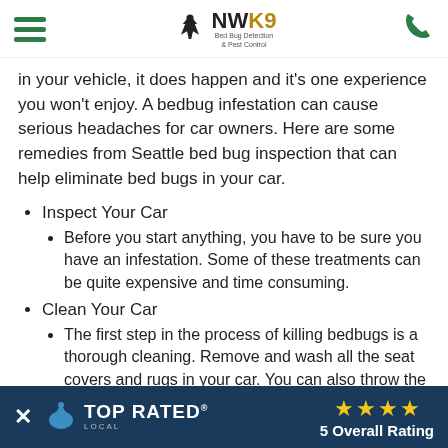NWK9 Bed Bug Detection & Pest Control
in your vehicle, it does happen and it's one experience you won't enjoy.  A bedbug infestation can cause serious headaches for car owners. Here are some remedies from Seattle bed bug inspection that can help eliminate bed bugs in your car.
Inspect Your Car
Before you start anything, you have to be sure you have an infestation. Some of these treatments can be quite expensive and time consuming.
Clean Your Car
The first step in the process of killing bedbugs is a thorough cleaning. Remove and wash all the seat covers and rugs in your car. You can also throw the seat covers and carpet in a dryer for 30-60 minutes
Chemicals & Pesticides
One of the most effective ways of removing bedbugs is by attacking them with chemicals and pesticides
[Figure (infographic): Top Rated Local banner with 5 star rating overlay at bottom of page. Shows an X close button, a bird logo, TOP RATED LOCAL text, and 4 gold stars with '5 Overall Rating' text.]